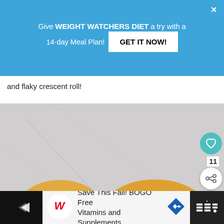[Figure (infographic): Blue promotional banner: 'Give WEIGHT WATCHERS DIET a try with a 14-day Meal Plan! GET IT NOW!' with close X button]
and flaky crescent roll!
[Figure (photo): Close-up photo of golden baked crescent rolls on a wooden surface with light gray background. Heart/like and share buttons overlaid. 'WHAT'S NEXT → 15 Delicious Meatball...' overlay in bottom right.]
[Figure (infographic): Bottom advertisement bar: Walgreens logo, 'Save This Fall! BOGO Free Vitamins and Supplements']